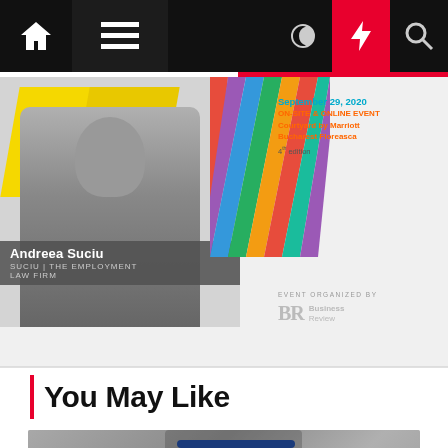Navigation bar with home, menu, dark mode, lightning, and search icons
[Figure (photo): Advertisement banner featuring Andreea Suciu from Suciu | The Employment Law Firm, with colorful diagonal stripes and Business Review event branding. Text: September 29, 2020, ON-SITE & ONLINE EVENT, Courtyard by Marriott Bucharest Floreasca, 4th edition. EVENT ORGANIZED BY BR Business Review.]
You May Like
[Figure (photo): Photo of a woman wearing a face shield and mask, holding papers, in an indoor setting with blurred background.]